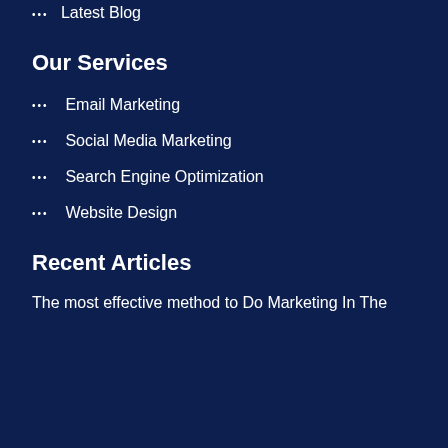••• Latest Blog
Our Services
••• Email Marketing
••• Social Media Marketing
••• Search Engine Optimization
••• Website Design
Recent Articles
The most effective method to Do Marketing In The